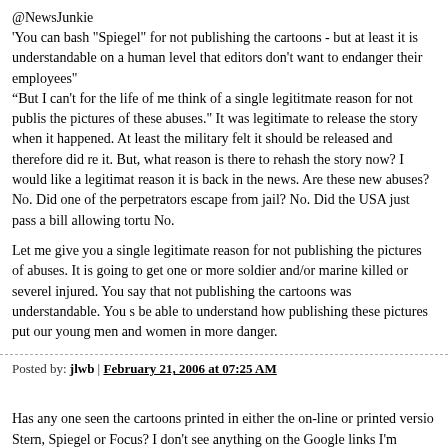@NewsJunkie
'You can bash "Spiegel" for not publishing the cartoons - but at least it is understandable on a human level that editors don't want to endanger their employees"
“But I can't for the life of me think of a single legititmate reason for not publishing the pictures of these abuses.” It was legitimate to release the story when it happened. At least the military felt it should be released and therefore did release it. But, what reason is there to rehash the story now? I would like a legitimate reason it is back in the news. Are these new abuses? No. Did one of the perpetrators escape from jail? No. Did the USA just pass a bill allowing torture? No.

Let me give you a single legitimate reason for not publishing the pictures of these abuses. It is going to get one or more soldier and/or marine killed or severely injured. You say that not publishing the cartoons was understandable. You should be able to understand how publishing these pictures put our young men and women in more danger.
Posted by: jlwb | February 21, 2006 at 07:25 AM
Has any one seen the cartoons printed in either the on-line or printed version of Stern, Spiegel or Focus? I don't see anything on the Google links I'm turning up. Is there a direct link to them.